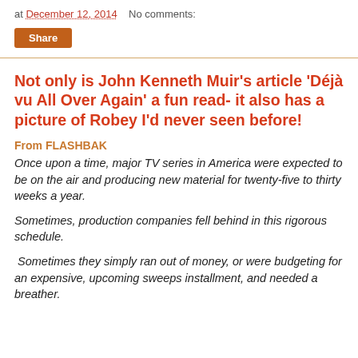at December 12, 2014    No comments:
Share
Not only is John Kenneth Muir's article 'Déjà vu All Over Again' a fun read- it also has a picture of Robey I'd never seen before!
From FLASHBAK
Once upon a time, major TV series in America were expected to be on the air and producing new material for twenty-five to thirty weeks a year.
Sometimes, production companies fell behind in this rigorous schedule.
Sometimes they simply ran out of money, or were budgeting for an expensive, upcoming sweeps installment, and needed a breather.